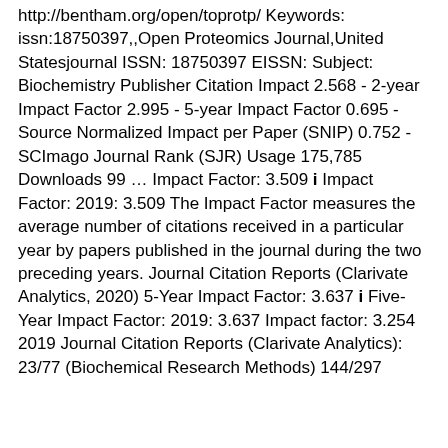http://bentham.org/open/toprotp/ Keywords: issn:18750397,,Open Proteomics Journal,United Statesjournal ISSN: 18750397 EISSN: Subject: Biochemistry Publisher Citation Impact 2.568 - 2-year Impact Factor 2.995 - 5-year Impact Factor 0.695 - Source Normalized Impact per Paper (SNIP) 0.752 - SCImago Journal Rank (SJR) Usage 175,785 Downloads 99 … Impact Factor: 3.509 i Impact Factor: 2019: 3.509 The Impact Factor measures the average number of citations received in a particular year by papers published in the journal during the two preceding years. Journal Citation Reports (Clarivate Analytics, 2020) 5-Year Impact Factor: 3.637 i Five-Year Impact Factor: 2019: 3.637 Impact factor: 3.254 2019 Journal Citation Reports (Clarivate Analytics): 23/77 (Biochemical Research Methods) 144/297